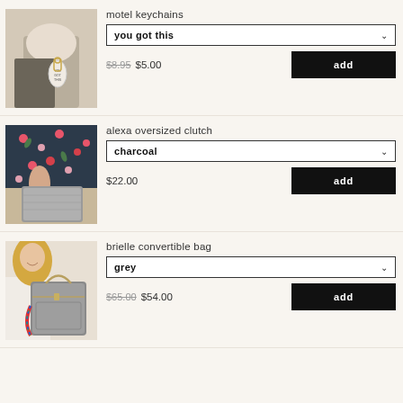[Figure (photo): Woman wearing a keychain accessory with 'you got this' oval tag, neutral tones]
motel keychains
you got this
$8.95  $5.00  add
[Figure (photo): Woman in floral dress holding a large grey oversized clutch bag]
alexa oversized clutch
charcoal
$22.00  add
[Figure (photo): Blonde woman carrying a grey convertible bag with colorful woven strap]
brielle convertible bag
grey
$65.00  $54.00  add